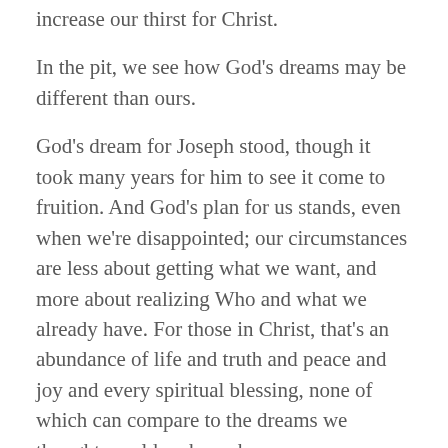increase our thirst for Christ.
In the pit, we see how God's dreams may be different than ours.
God's dream for Joseph stood, though it took many years for him to see it come to fruition. And God's plan for us stands, even when we're disappointed; our circumstances are less about getting what we want, and more about realizing Who and what we already have. For those in Christ, that's an abundance of life and truth and peace and joy and every spiritual blessing, none of which can compare to the dreams we thought would make us happy.
Sometimes it takes the pit for us to perceive this.
You may be in a deep, empty, dry pit right now. If